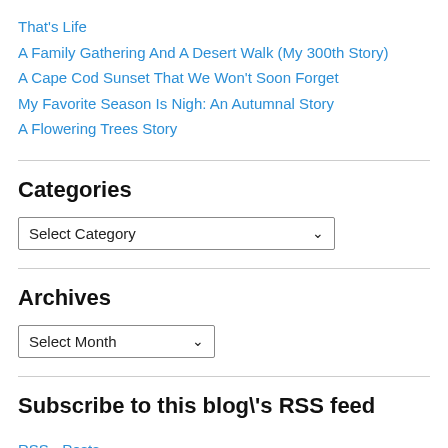That's Life
A Family Gathering And A Desert Walk (My 300th Story)
A Cape Cod Sunset That We Won't Soon Forget
My Favorite Season Is Nigh: An Autumnal Story
A Flowering Trees Story
Categories
[Figure (screenshot): Select Category dropdown widget]
Archives
[Figure (screenshot): Select Month dropdown widget]
Subscribe to this blog\'s RSS feed
RSS - Posts